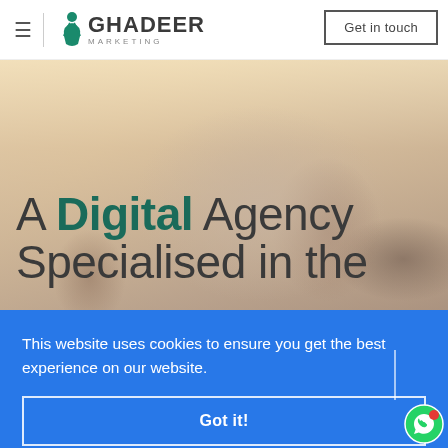[Figure (logo): Ghadeer Marketing logo with teal figure icon and company name]
Get in touch
[Figure (photo): Background photo of children in a classroom setting, blurred]
A Digital Agency Specialised in the
This website uses cookies to ensure you get the best experience on our website.
Got it!